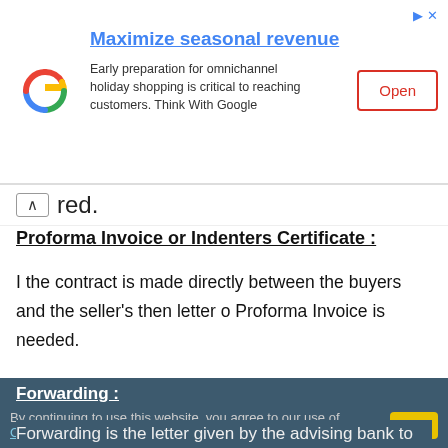[Figure (other): Google ad banner: Maximize seasonal revenue. Early preparation for omnichannel holiday shopping is critical to reaching customers. Think With Google. Open button.]
ired.
Proforma Invoice or Indenters Certificate :
I the contract is made directly between the buyers and the seller's then letter o Proforma Invoice is needed.
Forwarding :
By continuing to use this website, you agree to our use of Cookies
Forwarding is the letter given by the advising bank to the issuing bank. Several copies are sent to the issuing bank. All copies including origin should be kept in the bank.